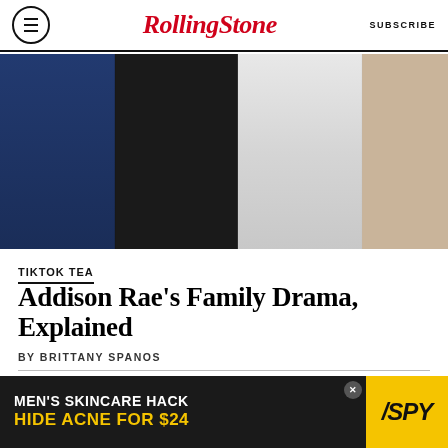Rolling Stone | SUBSCRIBE
[Figure (photo): Three or four people standing together, wearing dark blue, black leather, white draped, and beige/cream outfits respectively]
TIKTOK TEA
Addison Rae's Family Drama, Explained
BY BRITTANY SPANOS
[Figure (photo): Split image showing two photos side by side of people, partially cropped, with warm orange/terracotta tones at the bottom]
[Figure (infographic): Advertisement banner: MEN'S SKINCARE HACK HIDE ACNE FOR $24 with SPY logo on yellow background]